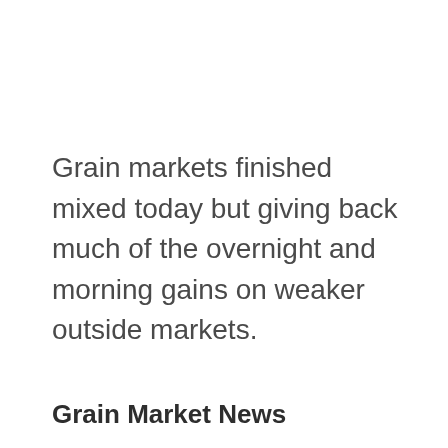Grain markets finished mixed today but giving back much of the overnight and morning gains on weaker outside markets.
Grain Market News